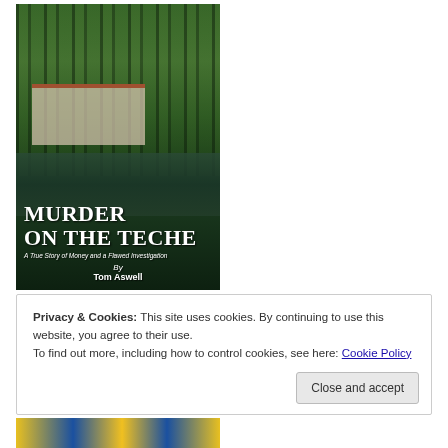[Figure (illustration): Book cover for 'Murder on the Teche: A True Story of Money and a Flawed Investigation' by Tom Aswell. Shows a Southern plantation house among tall trees with Spanish moss, reflected in water below. White text overlaid on green/dark background.]
Privacy & Cookies: This site uses cookies. By continuing to use this website, you agree to their use.
To find out more, including how to control cookies, see here: Cookie Policy
[Figure (illustration): Bottom strip showing partial view of another book cover with yellow, blue, and decorative patterns.]